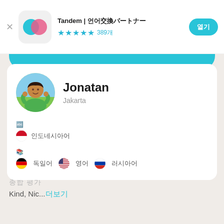[Figure (screenshot): Tandem app header with icon, title, star rating (4.5 stars, 389 reviews), and open button]
Tandem | 언어교환 파트너
★★★★☆ 389개
열기
[Figure (photo): Profile photo of Jonatan, a man in a green shirt]
Jonatan
Jakarta
🇮🇩 인도네시아어
🇩🇪 독일어  🇺🇸 영어  🇷🇺 러시아어
종합 평가
Kind, Nic...더보기